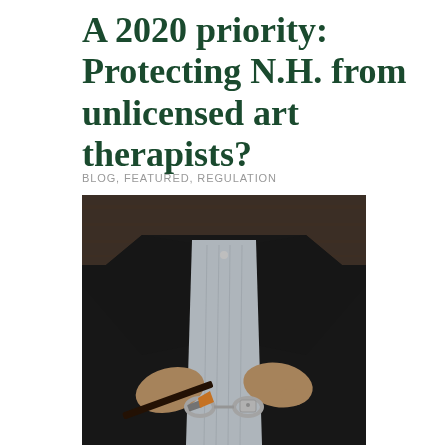A 2020 priority: Protecting N.H. from unlicensed art therapists?
BLOG, FEATURED, REGULATION
[Figure (photo): A man in a dark suit holding a paintbrush with handcuffs on his wrists, photographed from the torso down against a dark background]